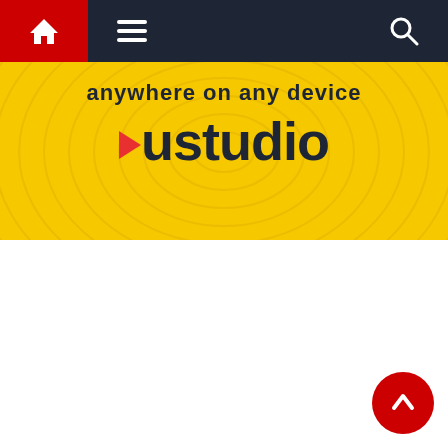Navigation bar with home, menu, and search icons
[Figure (logo): ustudio advertisement banner with yellow background, ripple lines, text 'anywhere on any device' and ustudio logo with red play triangle]
[Figure (other): Red circular back-to-top button with white upward chevron arrow in bottom right corner]